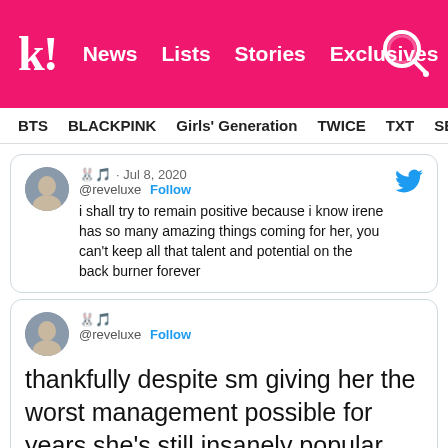k! News Lists Stories Exclusives
BTS BLACKPINK Girls' Generation TWICE TXT SEVE
🐰🎵 · Jul 8, 2020
@reveluxe · Follow
i shall try to remain positive because i know irene has so many amazing things coming for her, you can't keep all that talent and potential on the back burner forever
🐰🎵
@reveluxe · Follow
thankfully despite sm giving her the worst management possible for years she's still insanely popular (and still looks super young) so i have no doubt she'll make up for all that lost time
8:04 AM · Jul 8, 2020